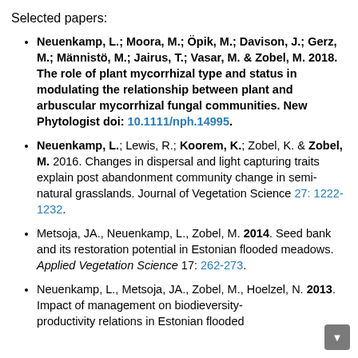Selected papers:
Neuenkamp, L.; Moora, M.; Öpik, M.; Davison, J.; Gerz, M.; Männistö, M.; Jairus, T.; Vasar, M. & Zobel, M. 2018. The role of plant mycorrhizal type and status in modulating the relationship between plant and arbuscular mycorrhizal fungal communities. New Phytologist doi: 10.1111/nph.14995.
Neuenkamp, L.; Lewis, R.; Koorem, K.; Zobel, K. & Zobel, M. 2016. Changes in dispersal and light capturing traits explain post abandonment community change in semi-natural grasslands. Journal of Vegetation Science 27: 1222-1232.
Metsoja, JA., Neuenkamp, L., Zobel, M. 2014. Seed bank and its restoration potential in Estonian flooded meadows. Applied Vegetation Science 17: 262-273.
Neuenkamp, L., Metsoja, JA., Zobel, M., Hoelzel, N. 2013. Impact of management on biodieversity-productivity relations in Estonian flooded...